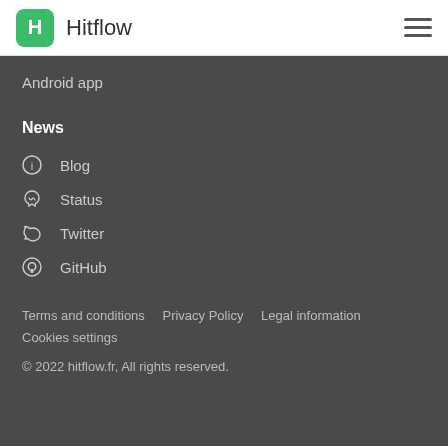Hitflow
Android app
News
Blog
Status
Twitter
GitHub
Terms and conditions   Privacy Policy   Legal information   Cookies settings
© 2022 hitflow.fr, All rights reserved.